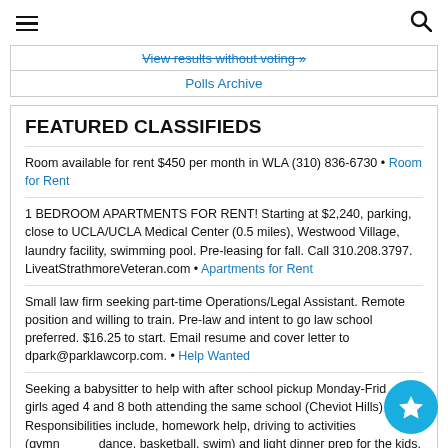≡  🔍
View results without voting »
Polls Archive
FEATURED CLASSIFIEDS
Room available for rent $450 per month in WLA (310) 836-6730 • Room for Rent
1 BEDROOM APARTMENTS FOR RENT! Starting at $2,240, parking, close to UCLA/UCLA Medical Center (0.5 miles), Westwood Village, laundry facility, swimming pool. Pre-leasing for fall. Call 310.208.3797. LiveatStrathmoreVeteran.com • Apartments for Rent
Small law firm seeking part-time Operations/Legal Assistant. Remote position and willing to train. Pre-law and intent to go law school preferred. $16.25 to start. Email resume and cover letter to dpark@parklawcorp.com. • Help Wanted
Seeking a babysitter to help with after school pickup Monday-Friday, girls aged 4 and 8 both attending the same school (Cheviot Hills). Responsibilities include, homework help, driving to activities (gymnastics, dance, basketball, swim) and light dinner prep for the kids. Pickup time